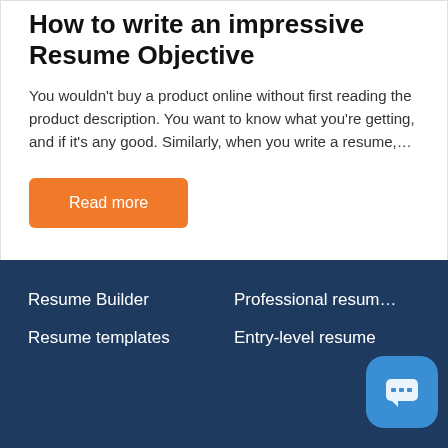How to write an impressive Resume Objective
You wouldn't buy a product online without first reading the product description. You want to know what you're getting, and if it's any good. Similarly, when you write a resume,…
Read more
Resume Builder
Professional resume
Resume templates
Entry-level resume